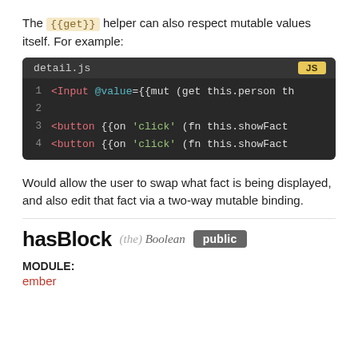The {{get}} helper can also respect mutable values itself. For example:
[Figure (screenshot): Code block showing detail.js file with JS badge. Lines: 1: <Input @value={{mut (get this.person th, 2: (empty), 3: <button {{on 'click' (fn this.showFact, 4: <button {{on 'click' (fn this.showFact]
Would allow the user to swap what fact is being displayed, and also edit that fact via a two-way mutable binding.
hasBlock (the) Boolean public
MODULE:
ember